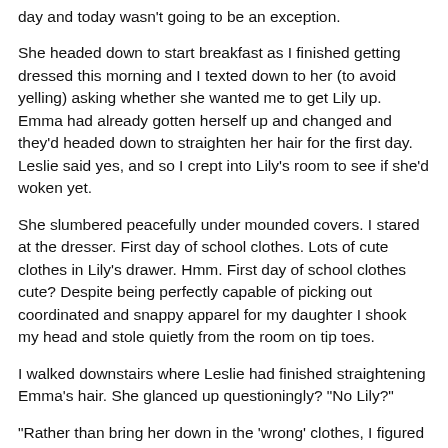day and today wasn't going to be an exception.
She headed down to start breakfast as I finished getting dressed this morning and I texted down to her (to avoid yelling) asking whether she wanted me to get Lily up.  Emma had already gotten herself up and changed and they'd headed down to straighten her hair for the first day.  Leslie said yes, and so I crept into Lily's room to see if she'd woken yet.
She slumbered peacefully under mounded covers.  I stared at the dresser.  First day of school clothes.  Lots of cute clothes in Lily's drawer.  Hmm.  First day of school clothes cute?  Despite being perfectly capable of picking out coordinated and snappy apparel for my daughter I shook my head and stole quietly from the room on tip toes.
I walked downstairs where Leslie had finished straightening Emma's hair.  She glanced up questioningly?  "No Lily?"
"Rather than bring her down in the 'wrong' clothes, I figured you'd probably want to pick out her first day of school outfit."